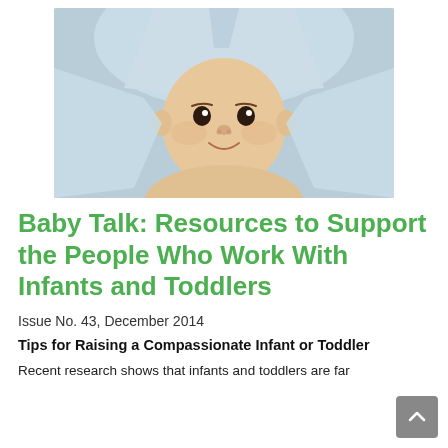[Figure (photo): A smiling baby with a light blue hooded towel draped over its head, looking upward toward the camera.]
Baby Talk: Resources to Support the People Who Work With Infants and Toddlers
Issue No. 43, December 2014
Tips for Raising a Compassionate Infant or Toddler
Recent research shows that infants and toddlers are far